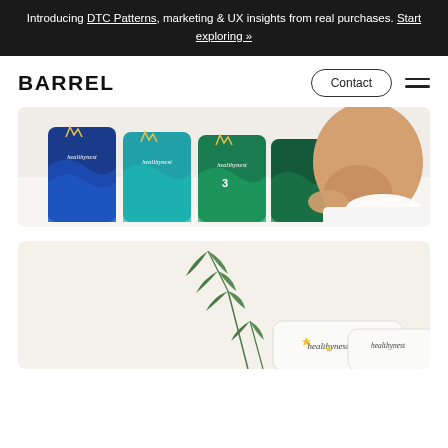Introducing DTC Patterns, marketing & UX insights from real purchases. Start exploring »
BARREL
[Figure (photo): Photo of healthynest diaper product packages fanned out in blue, teal, and green colors on a white fluffy surface, with a baby sitting on the right side.]
[Figure (photo): Photo of healthynest product packaging on a light beige/white background with green fern/plant sprigs decorating the scene.]